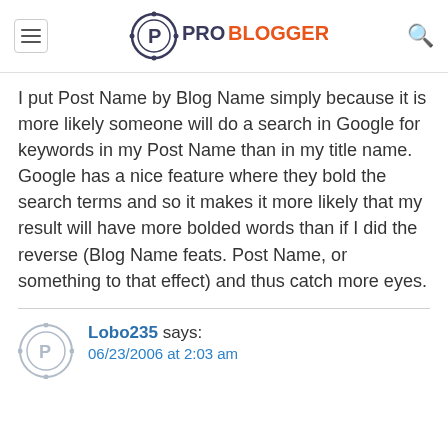ProBlogger
I put Post Name by Blog Name simply because it is more likely someone will do a search in Google for keywords in my Post Name than in my title name. Google has a nice feature where they bold the search terms and so it makes it more likely that my result will have more bolded words than if I did the reverse (Blog Name feats. Post Name, or something to that effect) and thus catch more eyes.
Lobo235 says: 06/23/2006 at 2:03 am